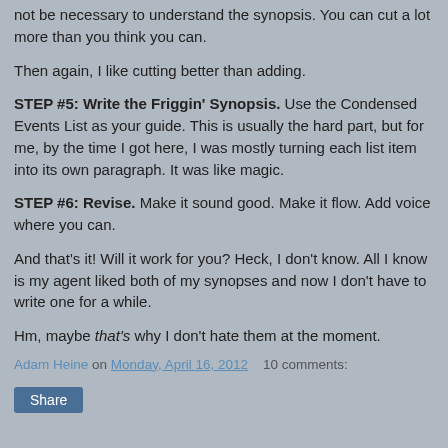not be necessary to understand the synopsis. You can cut a lot more than you think you can.
Then again, I like cutting better than adding.
STEP #5: Write the Friggin' Synopsis. Use the Condensed Events List as your guide. This is usually the hard part, but for me, by the time I got here, I was mostly turning each list item into its own paragraph. It was like magic.
STEP #6: Revise. Make it sound good. Make it flow. Add voice where you can.
And that's it! Will it work for you? Heck, I don't know. All I know is my agent liked both of my synopses and now I don't have to write one for a while.
Hm, maybe that's why I don't hate them at the moment.
Adam Heine on Monday, April 16, 2012   10 comments: